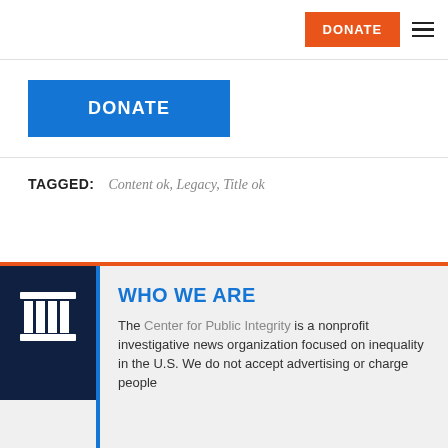DONATE [button] [hamburger menu]
DONATE
TAGGED: Content ok, Legacy, Title ok
[Figure (logo): Center for Public Integrity logo — white column/pillar icon on dark navy background]
WHO WE ARE
The Center for Public Integrity is a nonprofit investigative news organization focused on inequality in the U.S. We do not accept advertising or charge people